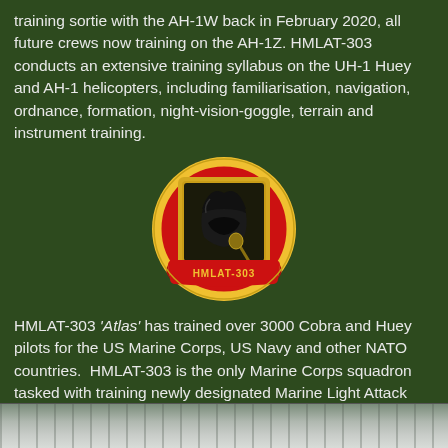training sortie with the AH-1W back in February 2020, all future crews now training on the AH-1Z. HMLAT-303 conducts an extensive training syllabus on the UH-1 Huey and AH-1 helicopters, including familiarisation, navigation, ordnance, formation, night-vision-goggle, terrain and instrument training.
[Figure (logo): HMLAT-303 squadron emblem: circular badge with red background, yellow border, black Spartan helmet in center, yellow rectangular frame behind helmet, red banner at bottom reading HMLAT-303]
HMLAT-303 'Atlas' has trained over 3000 Cobra and Huey pilots for the US Marine Corps, US Navy and other NATO countries. HMLAT-303 is the only Marine Corps squadron tasked with training newly designated Marine Light Attack Helicopter replacement, refresher and conversion pilots, whilst also spearheading the fleet's conversion to the new Bell UH-1Y and AH-1Z helicopters, which have replaced the older AH-1W.
[Figure (photo): Partial photograph visible at the bottom of the page, appears to show a military scene, mostly cropped]